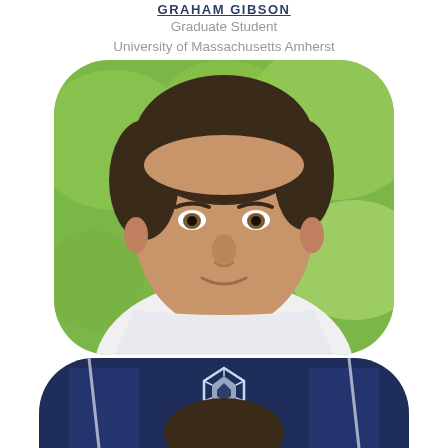GRAHAM GIBSON
Graduate Student
University of Massachusetts Amherst
[Figure (photo): Headshot of Guido España, a man with dark hair in a white shirt, photographed outdoors against a green blurred background, displayed in a rounded rectangle frame.]
GUIDO ESPAÑA
Research Assistant Professor of Biological Sciences
University of Notre Dame
[Figure (photo): Partial bottom headshot of a person wearing a dark navy shirt with a geometric logo, cropped at the bottom of the page.]